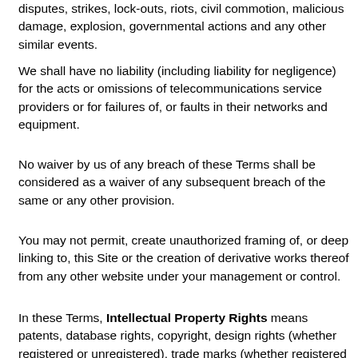disputes, strikes, lock-outs, riots, civil commotion, malicious damage, explosion, governmental actions and any other similar events.
We shall have no liability (including liability for negligence) for the acts or omissions of telecommunications service providers or for failures of, or faults in their networks and equipment.
No waiver by us of any breach of these Terms shall be considered as a waiver of any subsequent breach of the same or any other provision.
You may not permit, create unauthorized framing of, or deep linking to, this Site or the creation of derivative works thereof from any other website under your management or control.
In these Terms, Intellectual Property Rights means patents, database rights, copyright, design rights (whether registered or unregistered), trade marks (whether registered or unregistered) and other similar rights, together with the